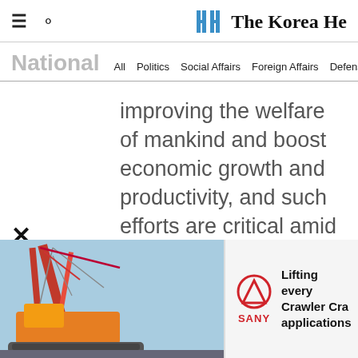The Korea Herald
National — All  Politics  Social Affairs  Foreign Affairs  Defense  North Korea  Hw...
improving the welfare of mankind and boost economic growth and productivity, and such efforts are critical amid the aging of populations
[Figure (photo): Advertisement banner for SANY Crawler Crane with photo of red crawler crane at a construction site and text: Lifting every... Crawler Cra... applications...]